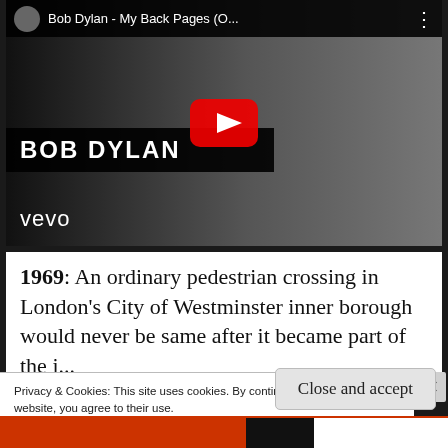[Figure (screenshot): YouTube video thumbnail for Bob Dylan - My Back Pages. Shows Bob Dylan's face on the right in black and white, with 'BOB DYLAN' text on a black banner on the left, vevo logo in bottom-left, YouTube play button in the center, and a top bar with avatar and title 'Bob Dylan - My Back Pages (O...']
1969: An ordinary pedestrian crossing in London's City of Westminster inner borough would never be same after it became part of the i...
Privacy & Cookies: This site uses cookies. By continuing to use this website, you agree to their use.
To find out more, including how to control cookies, see here:
Cookie Policy
Close and accept